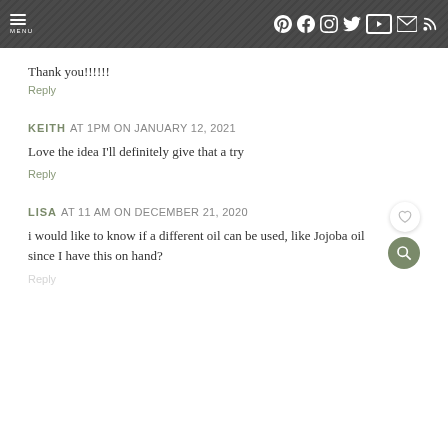MENU [social icons: Pinterest, Facebook, Instagram, Twitter, YouTube, Email, RSS]
Thank you!!!!!!
Reply
KEITH AT 1PM ON JANUARY 12, 2021
Love the idea I'll definitely give that a try
Reply
LISA AT 11 AM ON DECEMBER 21, 2020
i would like to know if a different oil can be used, like Jojoba oil since I have this on hand?
Reply